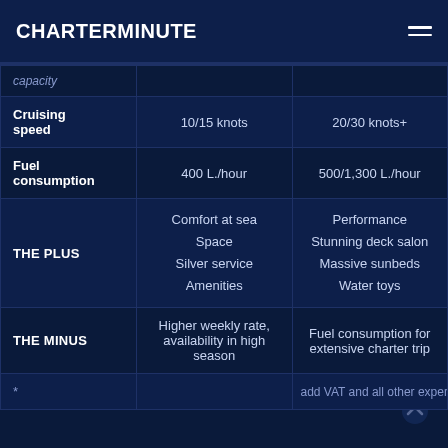CHARTERMINUTE
|  |  |  |
| --- | --- | --- |
| capacity |  |  |
| Cruising speed | 10/15 knots | 20/30 knots+ |
| Fuel consumption | 400 L./hour | 500/1,300 L./hour |
| THE PLUS | Comfort at sea
Space
Silver service
Amenities | Performance
Stunning deck salon
Massive sunbeds
Water toys |
| THE MINUS | Higher weekly rate, availability in high season | Fuel consumption for extensive charter trip |
| * |  | add VAT and all other exper |